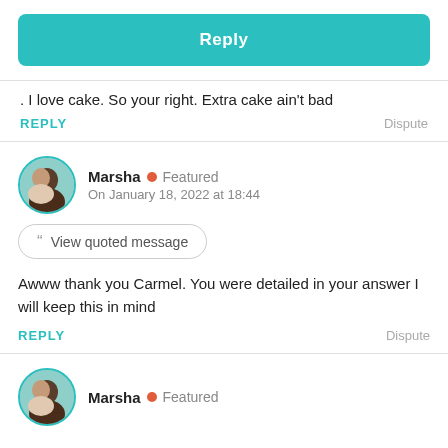Reply
. I love cake. So your right. Extra cake ain't bad
REPLY   Dispute
Marsha • Featured
On January 18, 2022 at 18:44
View quoted message
Awww thank you Carmel. You were detailed in your answer I will keep this in mind
REPLY   Dispute
Marsha • Featured